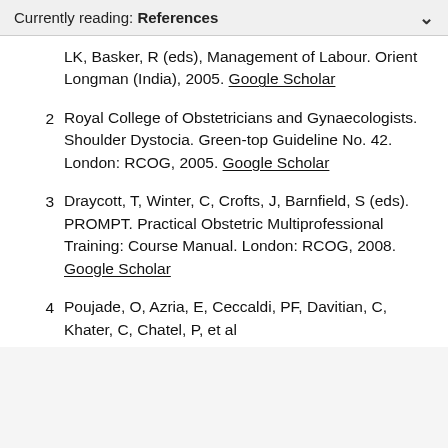Currently reading: References
LK, Basker, R (eds), Management of Labour. Orient Longman (India), 2005. Google Scholar
2  Royal College of Obstetricians and Gynaecologists. Shoulder Dystocia. Green-top Guideline No. 42. London: RCOG, 2005. Google Scholar
3  Draycott, T, Winter, C, Crofts, J, Barnfield, S (eds). PROMPT. Practical Obstetric Multiprofessional Training: Course Manual. London: RCOG, 2008. Google Scholar
4  Poujade, O, Azria, E, Ceccaldi, PF, Davitian, C, Khater, C, Chatel, P, et al